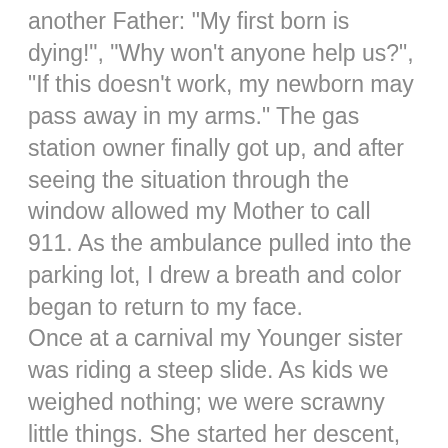another Father: "My first born is dying!", "Why won't anyone help us?", "If this doesn't work, my newborn may pass away in my arms." The gas station owner finally got up, and after seeing the situation through the window allowed my Mother to call 911. As the ambulance pulled into the parking lot, I drew a breath and color began to return to my face.
Once at a carnival my Younger sister was riding a steep slide. As kids we weighed nothing; we were scrawny little things. She started her descent, and our Dad recognized something wasn't right. My Sister looked frightened and was picking up too much air and too much speed. He knew she wouldn't slow down and the results would be disastrous. He moved to the side of the slide, and I watched in amazement as he